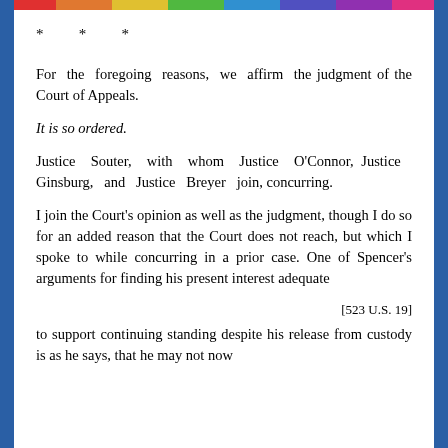* * *
For the foregoing reasons, we affirm the judgment of the Court of Appeals.
It is so ordered.
Justice Souter, with whom Justice O'Connor, Justice Ginsburg, and Justice Breyer join, concurring.
I join the Court's opinion as well as the judgment, though I do so for an added reason that the Court does not reach, but which I spoke to while concurring in a prior case. One of Spencer's arguments for finding his present interest adequate
[523 U.S. 19]
to support continuing standing despite his release from custody is as he says, that he may not now